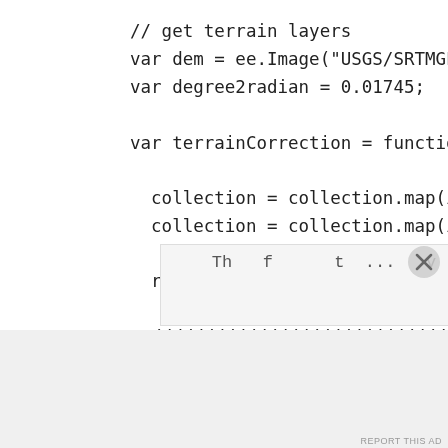// get terrain layers
var dem = ee.Image("USGS/SRTMGL1_003");
var degree2radian = 0.01745;

var terrainCorrection = function(collec

  collection = collection.map(illuminat
  collection = collection.map(illuminat

  return(collection);

  ////////////////////////////////////
  // Function to calculate illumination
  f          illuminationCondition(img){
     Th    f      t  ...    v
Advertisements
AUTOMATTIC
Build a better web and a better world.